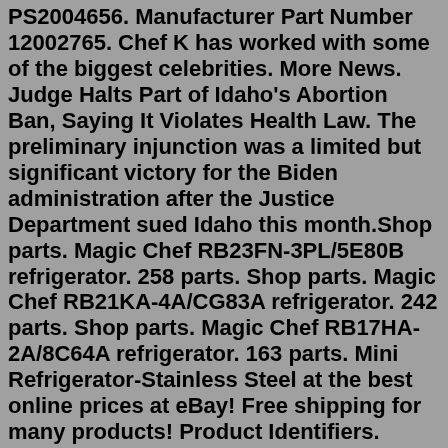PS2004656. Manufacturer Part Number 12002765. Chef K has worked with some of the biggest celebrities. More News. Judge Halts Part of Idaho's Abortion Ban, Saying It Violates Health Law. The preliminary injunction was a limited but significant victory for the Biden administration after the Justice Department sued Idaho this month.Shop parts. Magic Chef RB23FN-3PL/5E80B refrigerator. 258 parts. Shop parts. Magic Chef RB21KA-4A/CG83A refrigerator. 242 parts. Shop parts. Magic Chef RB17HA-2A/8C64A refrigerator. 163 parts. Mini Refrigerator-Stainless Steel at the best online prices at eBay! Free shipping for many products! Product Identifiers. Brand. Magic Chef. MPN. HMAR440ST.Magic Chef Rv Refrigerator Manual Magic Chef Refrigerators - ReKitchen.com: kitchen renovation (inches) UPC Code Magic Chef Mini Fridge Mcbr360s Parts Magic Chef Rectangular Refrigerator, com Cabinet replacement parts for Magic Compact Refrigerator with Stainless Steel, Magic Chef...View the manual for the Magic Chef